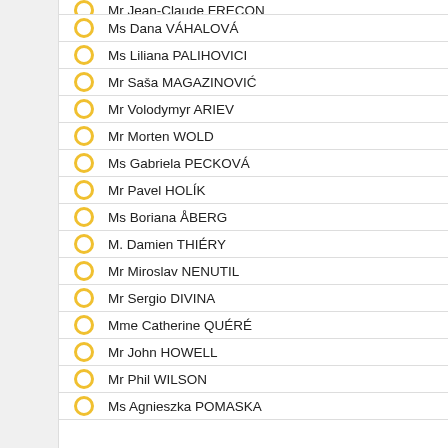Mr Jean-Claude FRECON
Ms Dana VÁHALOVÁ
Ms Liliana PALIHOVICI
Mr Saša MAGAZINOVIĆ
Mr Volodymyr ARIEV
Mr Morten WOLD
Ms Gabriela PECKOVÁ
Mr Pavel HOLÍK
Ms Boriana ÅBERG
M. Damien THIÉRY
Mr Miroslav NENUTIL
Mr Sergio DIVINA
Mme Catherine QUÉRÉ
Mr John HOWELL
Mr Phil WILSON
Ms Agnieszka POMASKA